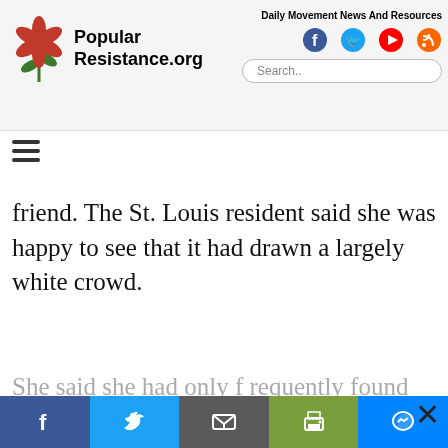Popular Resistance.org — Daily Movement News And Resources
friend. The St. Louis resident said she was happy to see that it had drawn a largely white crowd.
Sign Up To Our Daily Digest
Independent media outlets are being suppressed and dropped by corporations like Google, Facebook and Twitter. Sign up for our daily email digest before it's too late so you don't miss the latest movement news.
Email
Facebook | Twitter | Email | Print | Messenger